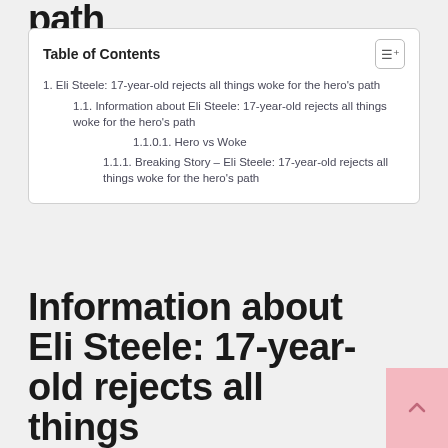path
| Table of Contents |
| --- |
| 1. Eli Steele: 17-year-old rejects all things woke for the hero's path |
| 1.1. Information about Eli Steele: 17-year-old rejects all things woke for the hero's path |
| 1.1.0.1. Hero vs Woke |
| 1.1.1. Breaking Story – Eli Steele: 17-year-old rejects all things woke for the hero's path |
Information about Eli Steele: 17-year-old rejects all things